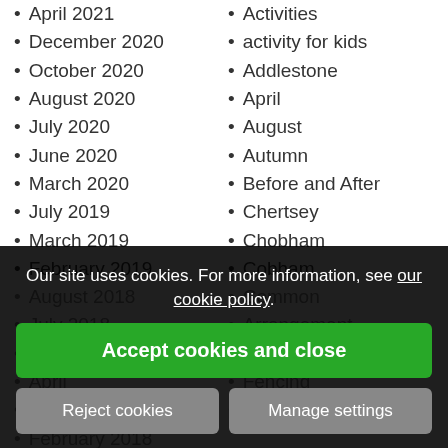April 2021
December 2020
October 2020
August 2020
July 2020
June 2020
March 2020
July 2019
March 2019
February 2019
August 2018
July 2018
May 2018
April
March
February 2018
Janu...
October 2017
Activities
activity for kids
Addlestone
April
August
Autumn
Before and After
Chertsey
Chobham
Cobham
Common
Arrangement
Covid
Fencing
Garden
Our site uses cookies. For more information, see our cookie policy.
Accept cookies and close
Reject cookies
Manage settings